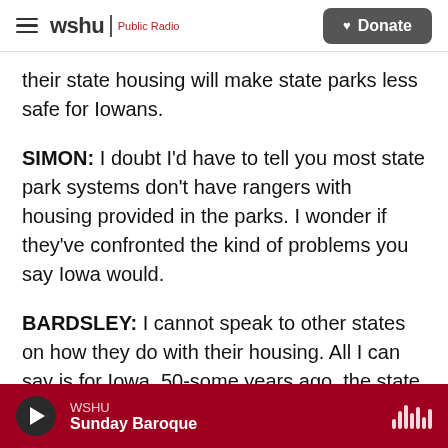wshu | Public Radio  [Donate button]
their state housing will make state parks less safe for Iowans.
SIMON: I doubt I'd have to tell you most state park systems don't have rangers with housing provided in the parks. I wonder if they've confronted the kind of problems you say Iowa would.
BARDSLEY: I cannot speak to other states on how they do with their housing. All I can say is for Iowa, 50-some years ago, the state deemed it as a responsibility to the state parks. And if you - this plan goes through and they remove them, are we
WSHU  Sunday Baroque